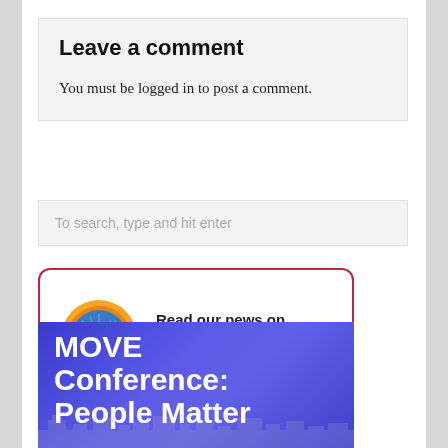Leave a comment
You must be logged in to post a comment.
To search, type and hit enter
[Figure (logo): News360 logo with orange circular icon and text 'Read our news on news360' inside a red-bordered rounded rectangle]
[Figure (photo): Blue gradient banner with white bold text reading 'MOVE Conference: People Matter' with a city skyline silhouette at the bottom]